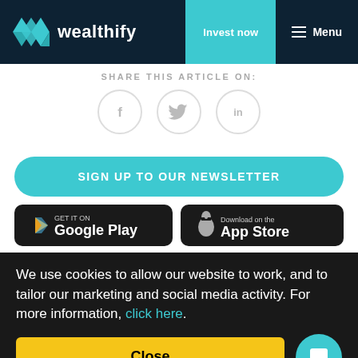wealthify | Invest now | Menu
SHARE THIS ARTICLE ON:
[Figure (illustration): Three social media share icons in circles: Facebook (f), Twitter (bird), LinkedIn (in)]
SIGN UP TO OUR NEWSLETTER
[Figure (illustration): Google Play store badge — GET IT ON Google Play]
[Figure (illustration): Apple App Store badge — Download on the App Store]
We use cookies to allow our website to work, and to tailor our marketing and social media activity. For more information, click here.
Close